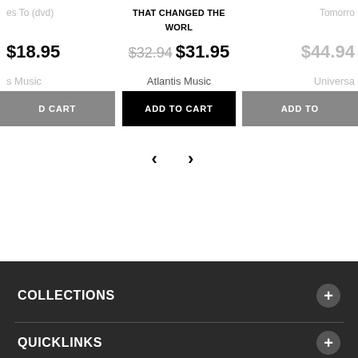es To (dvd)
THAT CHANGED THE WORLD
Tomorro
$18.95
$32.94 $31.95
$44.94
s Music
Atlantis Music
Universa
D CART
ADD TO CART
ADD TO
[Figure (other): Navigation arrows (left and right chevrons) for a product carousel]
COLLECTIONS
QUICKLINKS